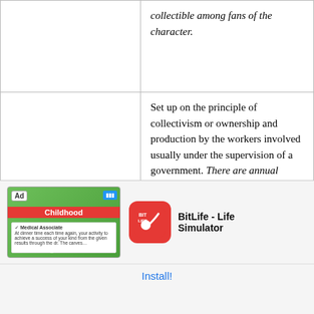| Term | Definition |
| --- | --- |
|  | collectible among fans of the character. |
| collective | Set up on the principle of collectivism or ownership and production by the workers involved usually under the supervision of a government. There are annual preventive inspections of the collective. |
|  | Subscribing to the socialistic doctrine of ownership by the people collectively. In a |
[Figure (screenshot): Ad for BitLife - Life Simulator app showing game imagery with Childhood screen, white text box, and BitLife logo at bottom.]